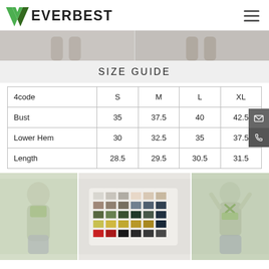[Figure (logo): Everbest logo with green V-check mark and EVERBEST text]
[Figure (photo): Two cropped product photos of women wearing athletic wear, showing lower body]
SIZE GUIDE
| 4code | S | M | L | XL |
| --- | --- | --- | --- | --- |
| Bust | 35 | 37.5 | 40 | 42.5 |
| Lower Hem | 30 | 32.5 | 35 | 37.5 |
| Length | 28.5 | 29.5 | 30.5 | 31.5 |
[Figure (photo): Three product photos: woman in green sports bra (front), fabric swatch card, woman in green sports bra (back)]